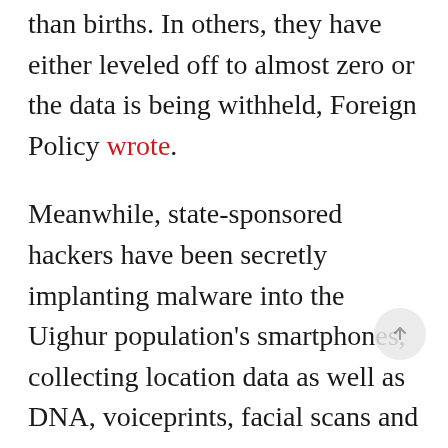than births. In others, they have either leveled off to almost zero or the data is being withheld, Foreign Policy wrote.
Meanwhile, state-sponsored hackers have been secretly implanting malware into the Uighur population's smartphones, collecting location data as well as DNA, voiceprints, facial scans and other personal data to transform Xinjiang into a virtual police state, the New York Times